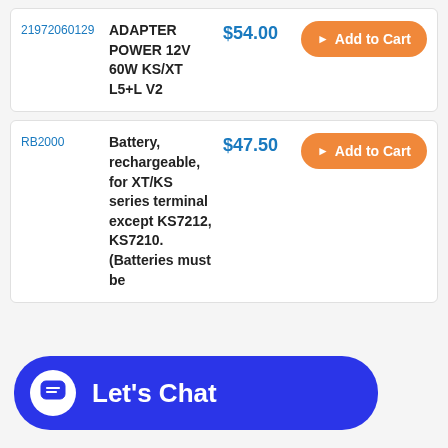| SKU | Product | Price | Action |
| --- | --- | --- | --- |
| 21972060129 | ADAPTER POWER 12V 60W KS/XT L5+L V2 | $54.00 | Add to Cart |
| RB2000 | Battery, rechargeable, for XT/KS series terminal except KS7212, KS7210. (Batteries must be... | $47.50 | Add to Cart |
Let's Chat